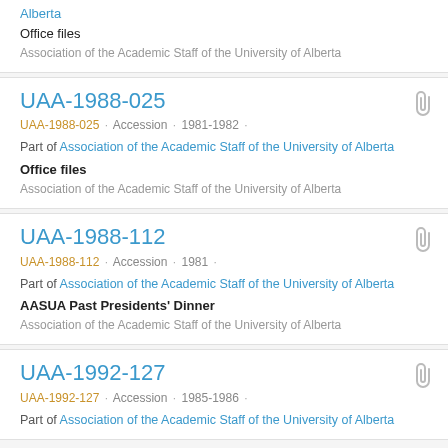Alberta
Office files
Association of the Academic Staff of the University of Alberta
UAA-1988-025
UAA-1988-025 · Accession · 1981-1982 ·
Part of Association of the Academic Staff of the University of Alberta
Office files
Association of the Academic Staff of the University of Alberta
UAA-1988-112
UAA-1988-112 · Accession · 1981 ·
Part of Association of the Academic Staff of the University of Alberta
AASUA Past Presidents' Dinner
Association of the Academic Staff of the University of Alberta
UAA-1992-127
UAA-1992-127 · Accession · 1985-1986 ·
Part of Association of the Academic Staff of the University of Alberta
Alberta